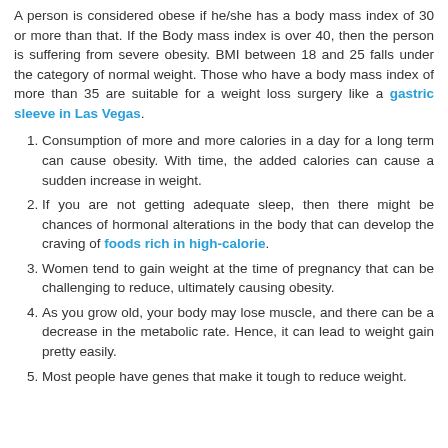A person is considered obese if he/she has a body mass index of 30 or more than that. If the Body mass index is over 40, then the person is suffering from severe obesity. BMI between 18 and 25 falls under the category of normal weight. Those who have a body mass index of more than 35 are suitable for a weight loss surgery like a gastric sleeve in Las Vegas.
Consumption of more and more calories in a day for a long term can cause obesity. With time, the added calories can cause a sudden increase in weight.
If you are not getting adequate sleep, then there might be chances of hormonal alterations in the body that can develop the craving of foods rich in high-calorie.
Women tend to gain weight at the time of pregnancy that can be challenging to reduce, ultimately causing obesity.
As you grow old, your body may lose muscle, and there can be a decrease in the metabolic rate. Hence, it can lead to weight gain pretty easily.
Most people have genes that make it tough to reduce weight.